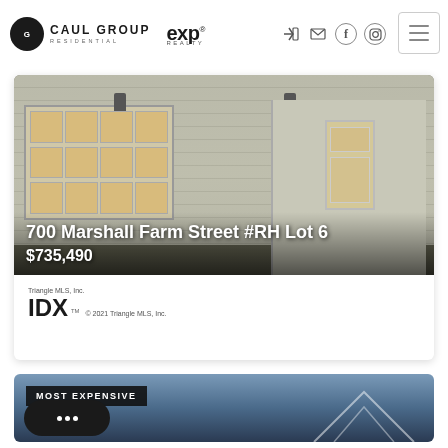Caul Group Residential | eXp Realty
[Figure (photo): Property photo of 700 Marshall Farm Street #RH Lot 6 showing garage and front door]
700 Marshall Farm Street #RH Lot 6
$735,490
[Figure (logo): IDX logo - Triangle MLS, Inc. © 2021 Triangle MLS, Inc.]
[Figure (photo): Most Expensive property listing card with dusk sky background showing roof]
MOST EXPENSIVE